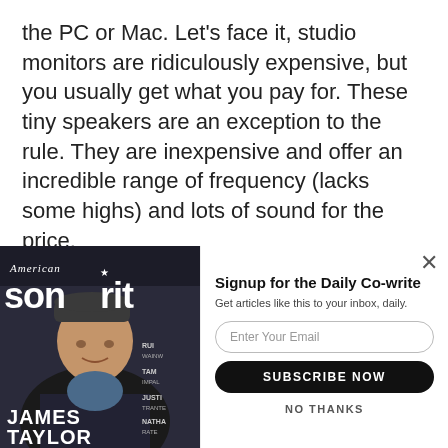the PC or Mac. Let's face it, studio monitors are ridiculously expensive, but you usually get what you pay for. These tiny speakers are an exception to the rule. They are inexpensive and offer an incredible range of frequency (lacks some highs) and lots of sound for the price.
When I test speakers there is one album that always
[Figure (photo): American Songwriter magazine cover featuring James Taylor, with popup signup modal for Daily Co-write newsletter]
Signup for the Daily Co-write
Get articles like this to your inbox, daily.
SUBSCRIBE NOW
NO THANKS